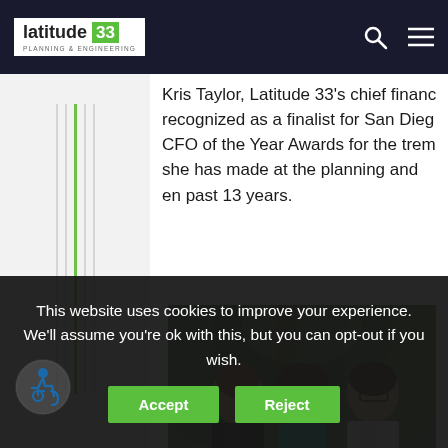latitude 33 PLANNING & ENGINEERING
Kris Taylor, Latitude 33's chief financ... recognized as a finalist for San Diego CFO of the Year Awards for the trem... she has made at the planning and en... past 13 years.
[Figure (photo): Three people standing outdoors in front of tropical plants — a man on the left in a dark suit, a woman in the middle wearing a turquoise top, and a woman on the right in a white blazer with glasses.]
This website uses cookies to improve your experience. We'll assume you're ok with this, but you can opt-out if you wish.